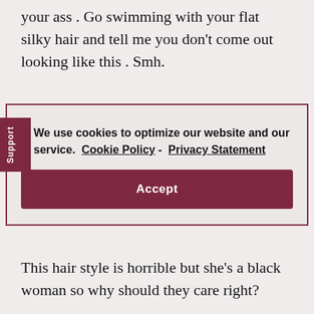your ass . Go swimming with your flat silky hair and tell me you don't come out looking like this . Smh.
We use cookies to optimize our website and our service.  Cookie Policy - Privacy Statement
Accept
This hair style is horrible but she's a black woman so why should they care right?